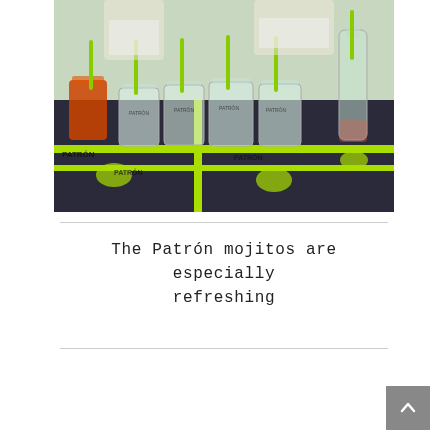[Figure (photo): Photo of Patrón tequila branded bar setup outdoors with multiple clear plastic cups with green straws, some containing orange/red drinks and light-colored mojitos, on a Patrón branded bar mat with yellow-green bee logos. Bar staff visible in background wearing white t-shirts.]
The Patrón mojitos are especially refreshing